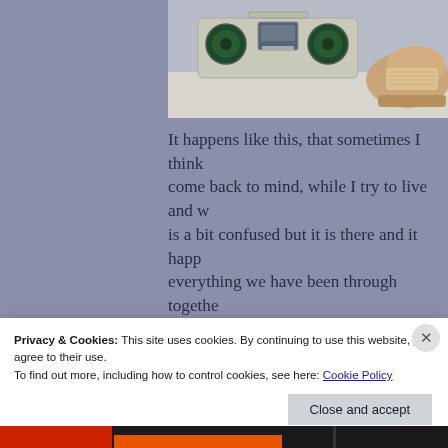[Figure (photo): A boombox/radio player with green speakers and a sneaker shoe visible to the right, placed on a light surface. Partial view, cropped at top of page.]
It happens like this, that sometimes I think come back to mind, while I try to live and w is a bit confused but it is there and it happ everything we have been through togethe do not know how much a person like me is and believe that it will be forever it happen think of you and I have lost you but what d
Privacy & Cookies: This site uses cookies. By continuing to use this website, you agree to their use.
To find out more, including how to control cookies, see here: Cookie Policy
Close and accept